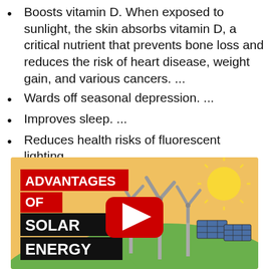Boosts vitamin D. When exposed to sunlight, the skin absorbs vitamin D, a critical nutrient that prevents bone loss and reduces the risk of heart disease, weight gain, and various cancers. ...
Wards off seasonal depression. ...
Improves sleep. ...
Reduces health risks of fluorescent lighting.
[Figure (screenshot): YouTube video thumbnail titled 'ADVANTAGES OF SOLAR ENERGY' with wind turbines, solar panels, a sun, and a YouTube play button on an orange/yellow background with a green hill.]